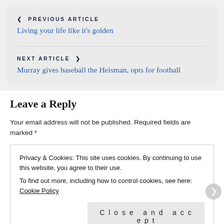< PREVIOUS ARTICLE
Living your life like it's golden
NEXT ARTICLE >
Murray gives baseball the Heisman, opts for football
Leave a Reply
Your email address will not be published. Required fields are marked *
Privacy & Cookies: This site uses cookies. By continuing to use this website, you agree to their use.
To find out more, including how to control cookies, see here: Cookie Policy
Close and accept